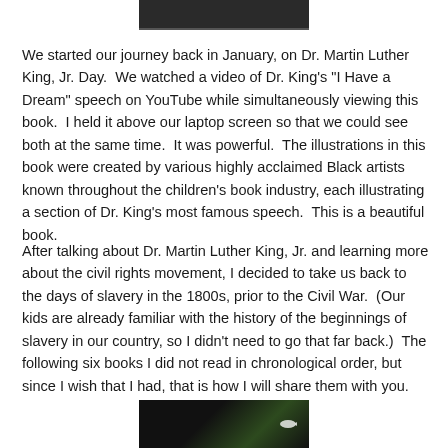[Figure (photo): Top portion of a book cover image, dark background]
We started our journey back in January, on Dr. Martin Luther King, Jr. Day.  We watched a video of Dr. King's "I Have a Dream" speech on YouTube while simultaneously viewing this book.  I held it above our laptop screen so that we could see both at the same time.  It was powerful.  The illustrations in this book were created by various highly acclaimed Black artists known throughout the children's book industry, each illustrating a section of Dr. King's most famous speech.  This is a beautiful book.
After talking about Dr. Martin Luther King, Jr. and learning more about the civil rights movement, I decided to take us back to the days of slavery in the 1800s, prior to the Civil War.  (Our kids are already familiar with the history of the beginnings of slavery in our country, so I didn't need to go that far back.)  The following six books I did not read in chronological order, but since I wish that I had, that is how I will share them with you.
[Figure (photo): Bottom portion of a book cover image, dark green and black background with a white bird shape]